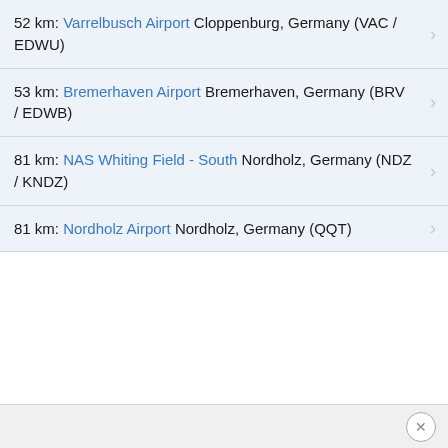52 km: Varrelbusch Airport Cloppenburg, Germany (VAC / EDWU)
53 km: Bremerhaven Airport Bremerhaven, Germany (BRV / EDWB)
81 km: NAS Whiting Field - South Nordholz, Germany (NDZ / KNDZ)
81 km: Nordholz Airport Nordholz, Germany (QQT)